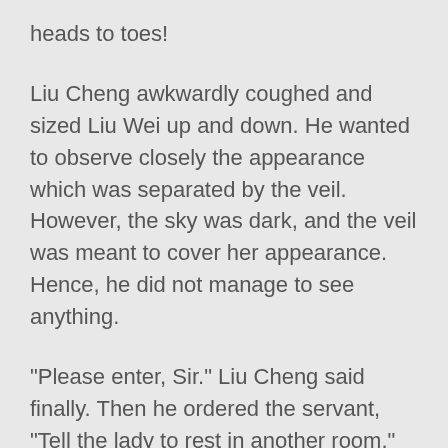heads to toes!
Liu Cheng awkwardly coughed and sized Liu Wei up and down. He wanted to observe closely the appearance which was separated by the veil. However, the sky was dark, and the veil was meant to cover her appearance. Hence, he did not manage to see anything.
“Please enter, Sir.” Liu Cheng said finally. Then he ordered the servant, “Tell the lady to rest in another room.”
The servant swiftly ran over.
Liu Wei and Rong Leng brought along a line of